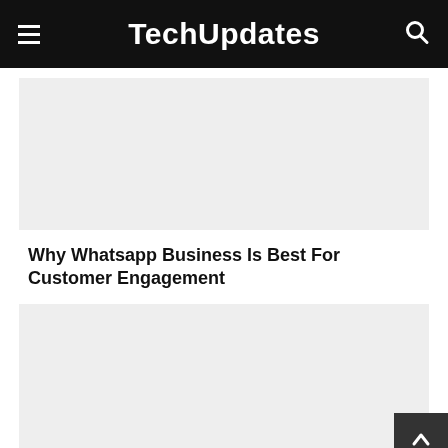TechUpdates
[Figure (other): Gray placeholder image block (top article image)]
Why Whatsapp Business Is Best For Customer Engagement
[Figure (other): Gray placeholder image block (bottom article image)]